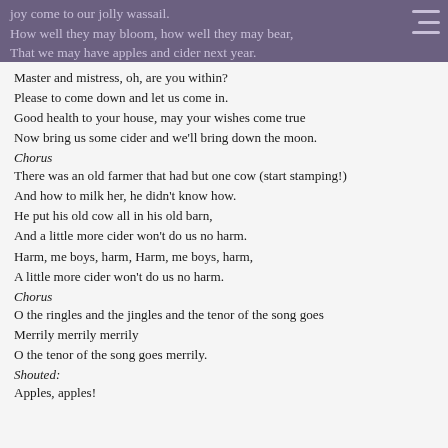joy come to our jolly wassail.
How well they may bloom, how well they may bear,
That we may have apples and cider next year.
Master and mistress, oh, are you within?
Please to come down and let us come in.
Good health to your house, may your wishes come true
Now bring us some cider and we'll bring down the moon.
Chorus
There was an old farmer that had but one cow (start stamping!)
And how to milk her, he didn't know how.
He put his old cow all in his old barn,
And a little more cider won't do us no harm.
Harm, me boys, harm, Harm, me boys, harm,
A little more cider won't do us no harm.
Chorus
O the ringles and the jingles and the tenor of the song goes
Merrily merrily merrily
O the tenor of the song goes merrily.
Shouted:
Apples, apples!